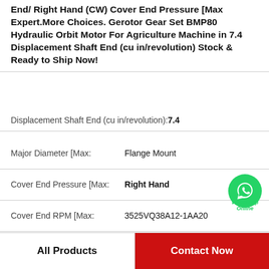End/ Right Hand (CW) Cover End Pressure [Max Expert.More Choices. Gerotor Gear Set BMP80 Hydraulic Orbit Motor For Agriculture Machine in 7.4 Displacement Shaft End (cu in/revolution) Stock & Ready to Ship Now!
Displacement Shaft End (cu in/revolution): 7.4
| Attribute | Value |
| --- | --- |
| Major Diameter [Max: | Flange Mount |
| Cover End Pressure [Max: | Right Hand |
| Cover End RPM [Max: | 3525VQ38A12-1AA20 |
| Mounting Flange: | 3 |
| GPM @ 1,800 rpm, Shaft End: | Flange |
| Pilot Type: | 5/16 in |
All Products
Contact Now